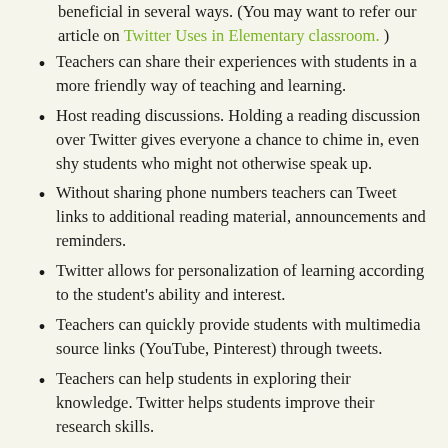beneficial in several ways. (You may want to refer our article on Twitter Uses in Elementary classroom. )
Teachers can share their experiences with students in a more friendly way of teaching and learning.
Host reading discussions. Holding a reading discussion over Twitter gives everyone a chance to chime in, even shy students who might not otherwise speak up.
Without sharing phone numbers teachers can Tweet links to additional reading material, announcements and reminders.
Twitter allows for personalization of learning according to the student's ability and interest.
Teachers can quickly provide students with multimedia source links (YouTube, Pinterest) through tweets.
Teachers can help students in exploring their knowledge. Twitter helps students improve their research skills.
Therefore Twitter can be a teacher's new best friend which would